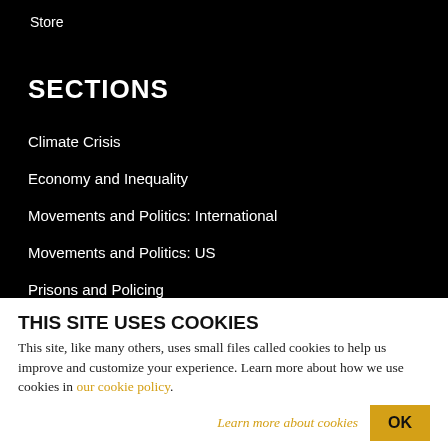Store
SECTIONS
Climate Crisis
Economy and Inequality
Movements and Politics: International
Movements and Politics: US
Prisons and Policing
THIS SITE USES COOKIES
This site, like many others, uses small files called cookies to help us improve and customize your experience. Learn more about how we use cookies in our cookie policy.
Learn more about cookies   OK